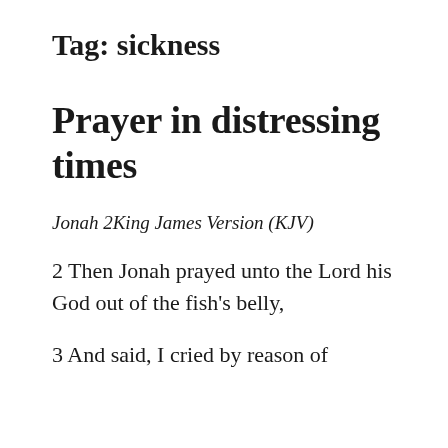Tag: sickness
Prayer in distressing times
Jonah 2King James Version (KJV)
2 Then Jonah prayed unto the Lord his God out of the fish's belly,
3 And said, I cried by reason of